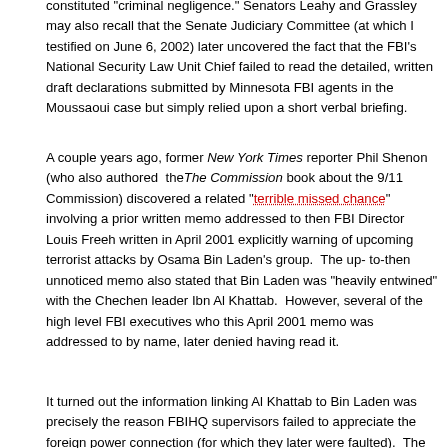constituted "criminal negligence." Senators Leahy and Grassley may also recall that the Senate Judiciary Committee (at which I testified on June 6, 2002) later uncovered the fact that the FBI's National Security Law Unit Chief failed to read the detailed, written draft declarations submitted by Minnesota FBI agents in the Moussaoui case but simply relied upon a short verbal briefing.
A couple years ago, former New York Times reporter Phil Shenon (who also authored the The Commission book about the 9/11 Commission) discovered a related "terrible missed chance" involving a prior written memo addressed to then FBI Director Louis Freeh written in April 2001 explicitly warning of upcoming terrorist attacks by Osama Bin Laden's group. The up-to-then unnoticed memo also stated that Bin Laden was "heavily entwined" with the Chechen leader Ibn Al Khattab. However, several of the high level FBI executives who this April 2001 memo was addressed to by name, later denied having read it.
It turned out the information linking Al Khattab to Bin Laden was precisely the reason FBIHQ supervisors failed to appreciate the foreign power connection (for which they later were faulted). The